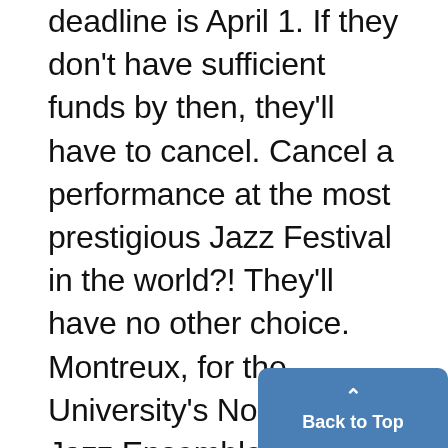deadline is April 1. If they don't have sufficient funds by then, they'll have to cancel. Cancel a performance at the most prestigious Jazz Festival in the world?! They'll have no other choice. Montreux, for the University's North Coast Jazz Ensemble, means performing among the top jazz artists of the world. The University's Ensemble faced fierce competition - only a handful of university bands are chosen each year. They were invited by a